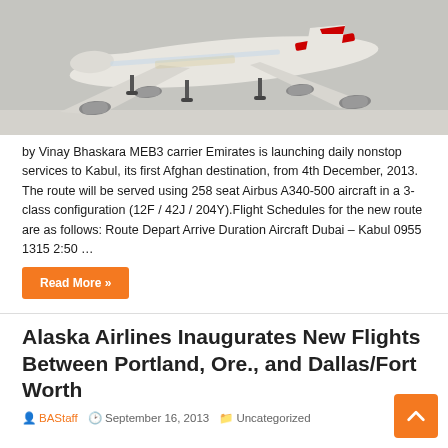[Figure (photo): An Emirates Airbus A340-500 aircraft photographed from below during approach/landing, seen against a grey sky background. The plane is white with red stripe on the tail.]
by Vinay Bhaskara MEB3 carrier Emirates is launching daily nonstop services to Kabul, its first Afghan destination, from 4th December, 2013. The route will be served using 258 seat Airbus A340-500 aircraft in a 3-class configuration (12F / 42J / 204Y).Flight Schedules for the new route are as follows: Route Depart Arrive Duration Aircraft Dubai – Kabul 0955 1315 2:50 …
Read More »
Alaska Airlines Inaugurates New Flights Between Portland, Ore., and Dallas/Fort Worth
BAStaff  September 16, 2013  Uncategorized